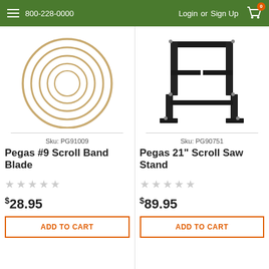800-228-0000   Login or Sign Up
[Figure (photo): Multiple concentric gold/bronze circular band blades coiled together, varying sizes]
Sku: PG91009
Pegas #9 Scroll Band Blade
★★★★★ (empty stars rating)
$28.95
ADD TO CART
[Figure (photo): Black metal scroll saw stand with four legs and two cross bars]
Sku: PG90751
Pegas 21" Scroll Saw Stand
★★★★★ (empty stars rating)
$89.95
ADD TO CART